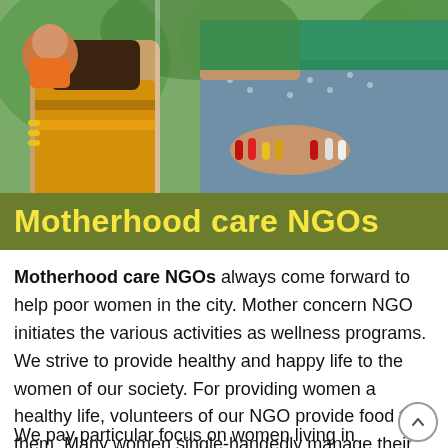[Figure (photo): A photograph showing Indian women, one holding a baby, wearing colorful traditional clothing and bangles. Green plants/crops visible in the background.]
Motherhood care NGOs
Motherhood care NGOs always come forward to help poor women in the city. Mother concern NGO initiates the various activities as wellness programs. We strive to provide healthy and happy life to the women of our society. For providing women a healthy life, volunteers of our NGO provide food to them. Many women single-handedly manage their family expenses. Our NGO pays special attention to the women in slums. Volunteers of our NGO help their families by providing necessities.
We pay particular focus on women living in slums. Our NGO distributes them some medicines in slums. Doct...